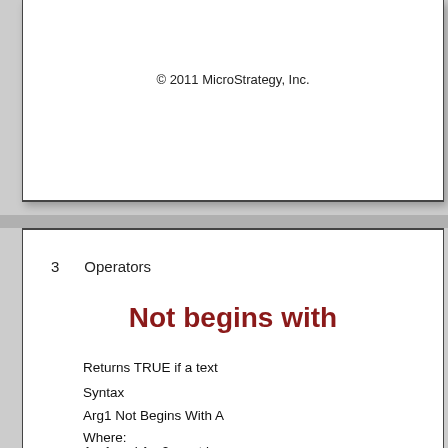© 2011 MicroStrategy, Inc.
3    Operators
Not begins with
Returns TRUE if a text
Syntax
Arg1 Not Begins With A
Where:
Arg1 and Arg2 must be